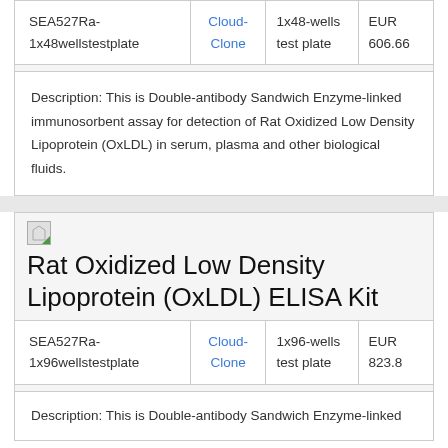| Product | Supplier | Quantity | Price |
| --- | --- | --- | --- |
| SEA527Ra-1x48wellstestplate | Cloud-Clone | 1x48-wells test plate | EUR 606.66 |
Description: This is Double-antibody Sandwich Enzyme-linked immunosorbent assay for detection of Rat Oxidized Low Density Lipoprotein (OxLDL) in serum, plasma and other biological fluids.
Rat Oxidized Low Density Lipoprotein (OxLDL) ELISA Kit
| Product | Supplier | Quantity | Price |
| --- | --- | --- | --- |
| SEA527Ra-1x96wellstestplate | Cloud-Clone | 1x96-wells test plate | EUR 823.8 |
Description: This is Double-antibody Sandwich Enzyme-linked